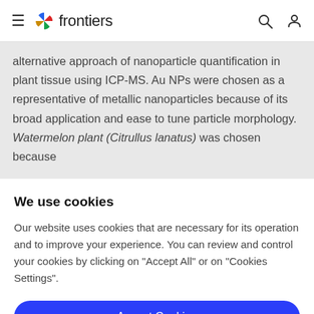frontiers
alternative approach of nanoparticle quantification in plant tissue using ICP-MS. Au NPs were chosen as a representative of metallic nanoparticles because of its broad application and ease to tune particle morphology. Watermelon plant (Citrullus lanatus) was chosen because
We use cookies
Our website uses cookies that are necessary for its operation and to improve your experience. You can review and control your cookies by clicking on "Accept All" or on "Cookies Settings".
Accept Cookies
Cookies Settings